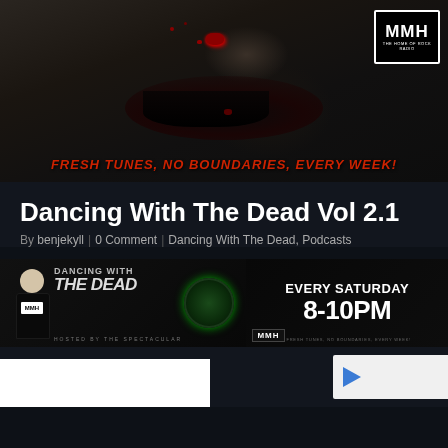[Figure (photo): MMH Radio banner with zombie/horror face close-up with blood, tagline FRESH TUNES, NO BOUNDARIES, EVERY WEEK! and MMH logo]
Dancing With The Dead Vol 2.1
By benjekyll  |  0 Comment  |  Dancing With The Dead, Podcasts
[Figure (photo): Dancing With The Dead show banner with DJ figure, green disc, show title, EVERY SATURDAY 8-10PM, MMH logo]
[Figure (other): Audio player and white content block at bottom]